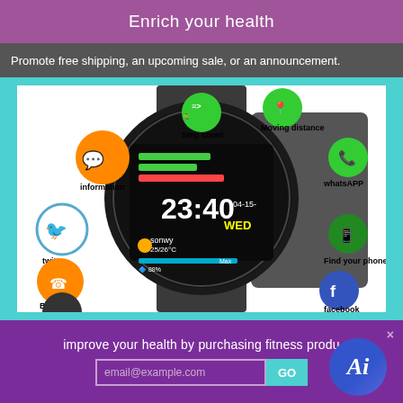Enrich your health
Promote free shipping, an upcoming sale, or an announcement.
[Figure (photo): Smartwatch product image showing a black stainless steel bracelet smart watch with digital clock display showing 23:40, Wednesday April 15, with icons for Step count, Moving distance, information, whatsAPP, twitter, Find your phone, Bluetooth, and facebook surrounding the watch]
improve your health by purchasing fitness produ
email@example.com
GO